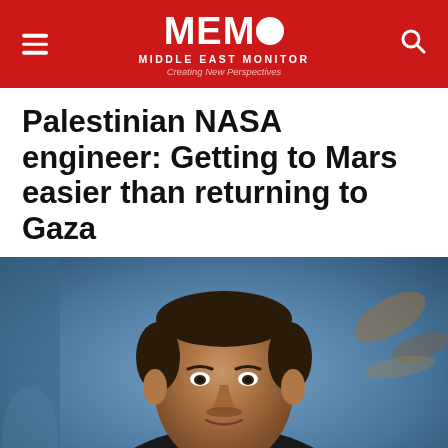MEMO MIDDLE EAST MONITOR Creating New Perspectives
Palestinian NASA engineer: Getting to Mars easier than returning to Gaza
[Figure (photo): Portrait photo of a man in a dark hoodie with blue accents, smiling slightly, with a blurred blue metallic background and some dried plant material visible.]